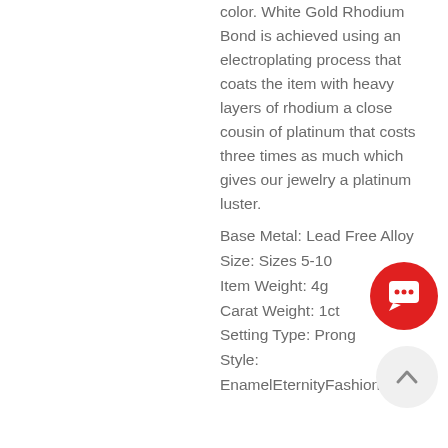color. White Gold Rhodium Bond is achieved using an electroplating process that coats the item with heavy layers of rhodium a close cousin of platinum that costs three times as much which gives our jewelry a platinum luster.
Base Metal: Lead Free Alloy
Size: Sizes 5-10
Item Weight: 4g
Carat Weight: 1ct
Setting Type: Prong
Style:
EnamelEternityFashionRight-